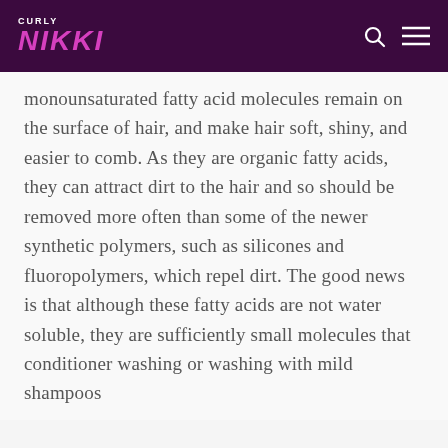CURLY NIKKI
monounsaturated fatty acid molecules remain on the surface of hair, and make hair soft, shiny, and easier to comb. As they are organic fatty acids, they can attract dirt to the hair and so should be removed more often than some of the newer synthetic polymers, such as silicones and fluoropolymers, which repel dirt. The good news is that although these fatty acids are not water soluble, they are sufficiently small molecules that conditioner washing or washing with mild shampoos